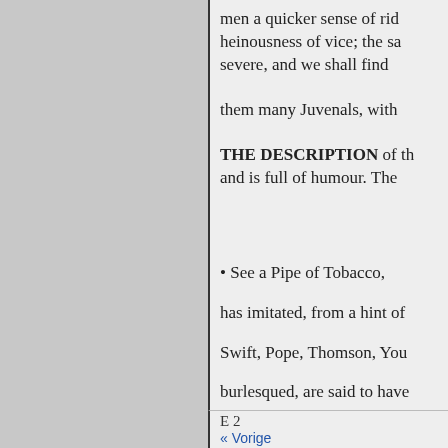men a quicker sense of rid heinousness of vice; the sa severe, and we shall find
them many Juvenals, with
THE DESCRIPTION of th and is full of humour. The
• See a Pipe of Tobacco, has imitated, from a hint of Swift, Pope, Thomson, You burlesqued, are said to have is an excellent copyist, and they are very drongly mann -In Porih imitation of the pe
E 2
« Vorige